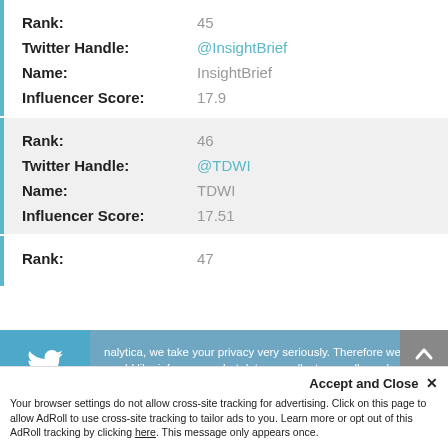| Rank: | 45 |
| Twitter Handle: | @InsightBrief |
| Name: | InsightBrief |
| Influencer Score: | 17.9 |
| Rank: | 46 |
| Twitter Handle: | @TDWI |
| Name: | TDWI |
| Influencer Score: | 17.51 |
Rank: 47
nalytica, we take your privacy very seriously. Therefore we would like inform you what data we collect, as well as when and how we deal with personal information. To learn more, read our Privacy and Cookie Policy. If you have any questions, don't hesitate to contact us
Accept and Close ×
Your browser settings do not allow cross-site tracking for advertising. Click on this page to allow AdRoll to use cross-site tracking to tailor ads to you. Learn more or opt out of this AdRoll tracking by clicking here. This message only appears once.